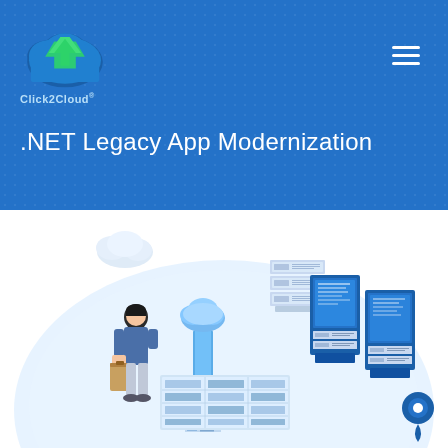[Figure (logo): Click2Cloud logo with cloud and green arrow icon, blue and green colors, with registered trademark symbol]
.NET Legacy App Modernization
[Figure (illustration): Isometric illustration showing a person managing cloud infrastructure with server stacks, a cloud icon on a pillar, and a location pin, on a light blue circular background]